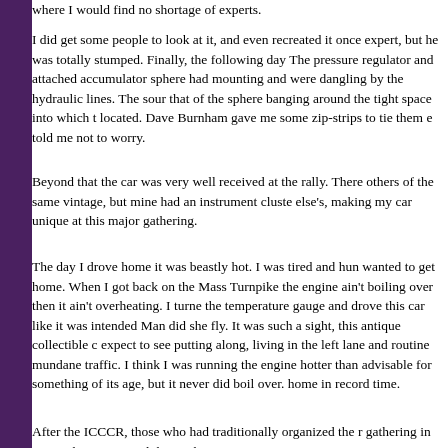where I would find no shortage of experts.
I did get some people to look at it, and even recreated it once expert, but he was totally stumped. Finally, the following day The pressure regulator and attached accumulator sphere had mounting and were dangling by the hydraulic lines. The sour that of the sphere banging around the tight space into which t located. Dave Burnham gave me some zip-strips to tie them e told me not to worry.
Beyond that the car was very well received at the rally. There others of the same vintage, but mine had an instrument cluste else's, making my car unique at this major gathering.
The day I drove home it was beastly hot. I was tired and hun wanted to get home. When I got back on the Mass Turnpike the engine ain't boiling over then it ain't overheating. I turne the temperature gauge and drove this car like it was intended Man did she fly. It was such a sight, this antique collectible c expect to see putting along, living in the left lane and routine mundane traffic. I think I was running the engine hotter than advisable for something of its age, but it never did boil over. home in record time.
After the ICCCR, those who had traditionally organized the r gathering in Massachusetts passed the torch to a some NYC